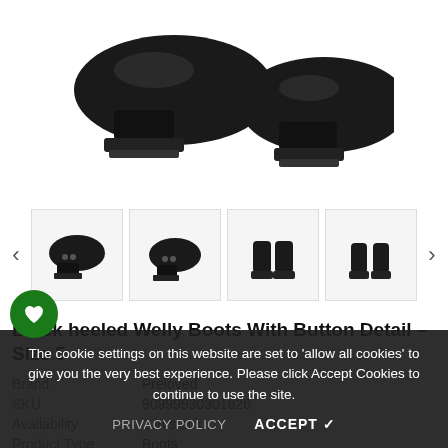[Figure (photo): Main product image of black heeled welly boots with button detail, viewed from front-top angle, white background]
[Figure (photo): Four thumbnail images of the black heeled welly boots: left side view, right side view, rear view, and front view]
Black heeled Welly Boots With Button Detail – Size 5
| Brand | Preloved |
| SKU | 90999930301626 |
| Availability | 1 In stock |
| Product Type | Boots |
The cookie settings on this website are set to 'allow all cookies' to give you the very best experience. Please click Accept Cookies to continue to use the site.
PRIVACY POLICY    ACCEPT ✔